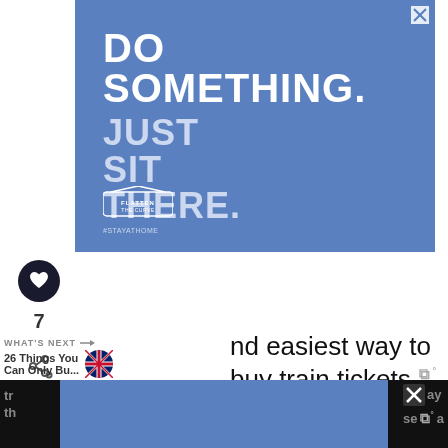[Figure (illustration): Blue advertisement banner reading 'DO SOMETHING. JUST SIT THERE.' with Flatten the Curve logo, and an X close button in top right corner]
[Figure (illustration): Heart (like/favorite) button, count of 7, and share button in vertical social sidebar]
WHAT'S NEXT →
26 Things You Can Only Bu...
nd easiest way to buy train tickets is at the Belgrade Centar Station at Savski
[Figure (illustration): UK flag emoji circle icon next to article preview text]
[Figure (illustration): Bottom dark bar with blue advertisement overlay, X close button and wordmark icons]